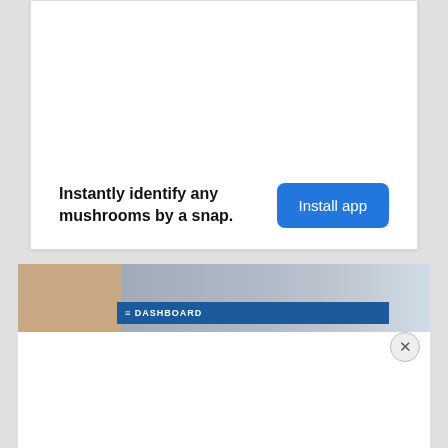Instantly identify any mushrooms by a snap.
Install app
[Figure (screenshot): Dashboard UI screenshot showing a web application with a blue navigation bar labeled DASHBOARD]
Privacy & Cookies: This site uses cookies. By continuing to use this website, you agree to their use.
To find out more, including how to control cookies, see here: Cookie Policy
Close and accept